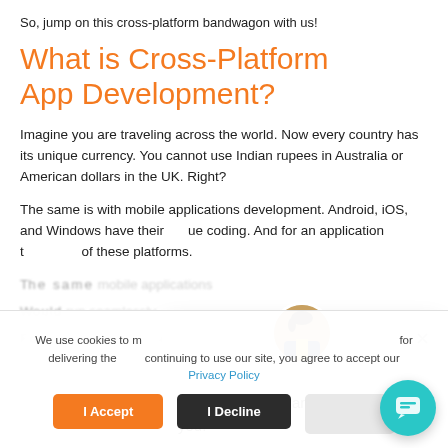So, jump on this cross-platform bandwagon with us!
What is Cross-Platform App Development?
Imagine you are traveling across the world. Now every country has its unique currency. You cannot use Indian rupees in Australia or American dollars in the UK. Right?
The same is with mobile applications development. Android, iOS, and Windows have their unique coding. And for an application to work across all of these platforms.
[Figure (screenshot): Chat popup widget with avatar of a woman (Jenny) and message: Hi! This is Jenny and I'm here to help you. Close button (x) in top right corner.]
We use cookies to make sure you have the best experience on our website. for delivering the best experience. By continuing to use our site, you agree to accept our Privacy Policy
I Accept
I Decline